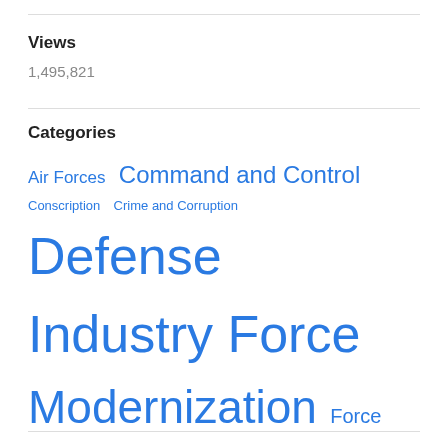Views
1,495,821
Categories
Air Forces  Command and Control  Conscription  Crime and Corruption  Defense Industry Force  Modernization  Force Structure  Ground Troops  Law, Order, and Discipline  Manpower  Military Housing  Military Leadership  Naval Modernization  Navy  Officer Corps  Strategic Forces Modernization  Training and Exercises